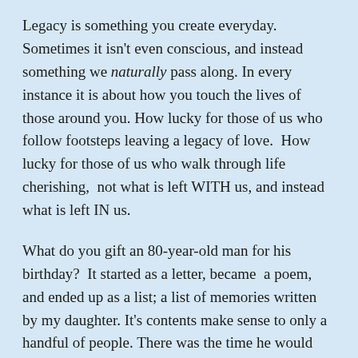Legacy is something you create everyday. Sometimes it isn't even conscious, and instead something we naturally pass along. In every instance it is about how you touch the lives of those around you. How lucky for those of us who follow footsteps leaving a legacy of love. How lucky for those of us who walk through life cherishing, not what is left WITH us, and instead what is left IN us.
What do you gift an 80-year-old man for his birthday? It started as a letter, became a poem, and ended up as a list; a list of memories written by my daughter. It's contents make sense to only a handful of people. There was the time he would walk across the floor like a penguin, just to hear her laugh. There was the time prior to 9/11 when he would be the first face she saw at the arrival gate of the airport. There was the walks to